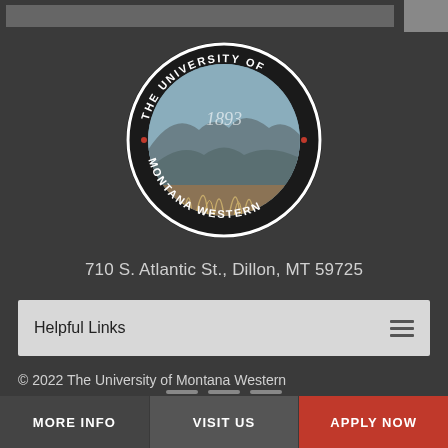[Figure (logo): The University of Montana Western circular seal logo with mountain landscape and grass imagery, text reading THE UNIVERSITY OF MONTANA WESTERN around the border with 1893 in the center]
710 S. Atlantic St., Dillon, MT 59725
Helpful Links
© 2022 The University of Montana Western
Privacy Statement
MORE INFO   VISIT US   APPLY NOW